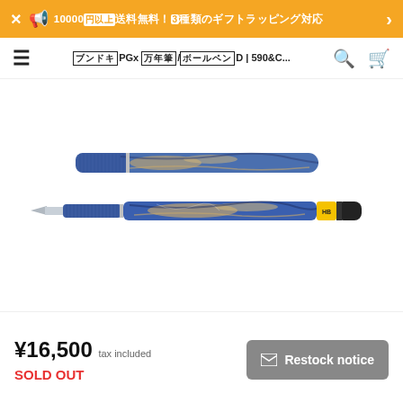10000円以上送料無料！3種類のギフトラッピング対応
ブンドキPGx 万年筆/ボールペンD | 590&C...
[Figure (photo): Two mechanical pencils with blue and brown marbled resin bodies. The top one shows just the barrel/cap, while the bottom one is the full pencil with a metal tip on the left, blue grip, marbled body with blue/tan/black swirls, a yellow HB marker band, and a black end cap. Both have silver metallic accents.]
¥16,500 tax included
SOLD OUT
✉ Restock notice